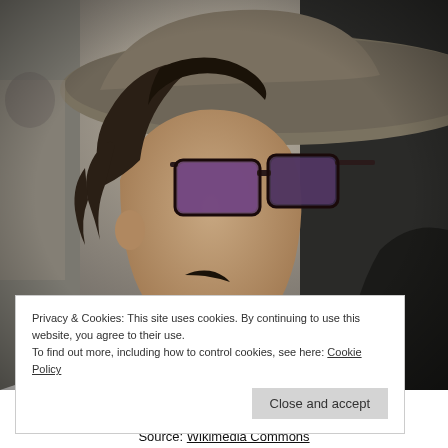[Figure (photo): A man with dark curly hair, wearing sunglasses with purple-tinted lenses, a wide-brimmed hat, and a white embroidered shirt. He is photographed from the side/three-quarter angle against a blurred dark background.]
Privacy & Cookies: This site uses cookies. By continuing to use this website, you agree to their use.
To find out more, including how to control cookies, see here: Cookie Policy
Source: Wikimedia Commons